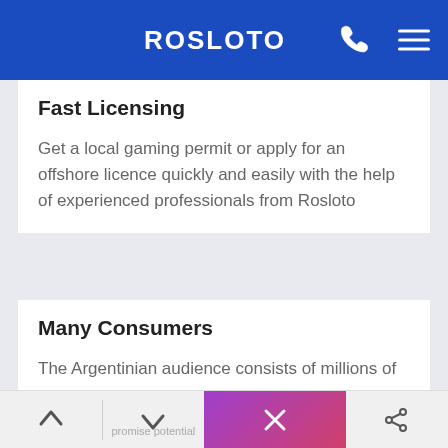ROSLOTO
Fast Licensing
Get a local gaming permit or apply for an offshore licence quickly and easily with the help of experienced professionals from Rosloto
Many Consumers
The Argentinian audience consists of millions of promising potential